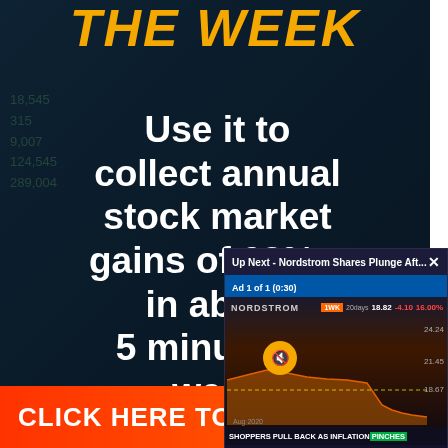THE WEEK
Use it to collect annual stock market gains of 63%... in about 5 minutes a week
CLICK HERE TO L...
[Figure (screenshot): Video popup overlay showing 'Up Next - Nordstrom Shares Plunge Aft...' with Ad 1 of 1 (0:30) label. Video shows Nordstrom stock chart with mute button. Bottom ticker reads 'SHOPPERS PULL BACK AS INFLATION PINCHES']